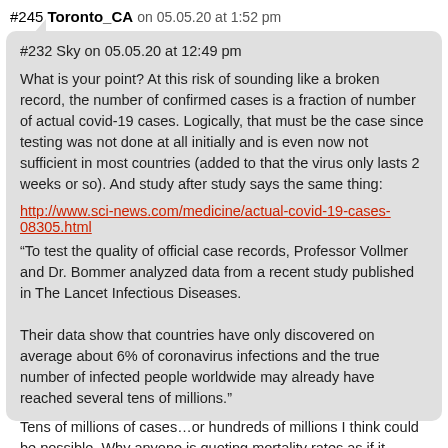#245 Toronto_CA on 05.05.20 at 1:52 pm
#232 Sky on 05.05.20 at 12:49 pm
What is your point? At this risk of sounding like a broken record, the number of confirmed cases is a fraction of number of actual covid-19 cases. Logically, that must be the case since testing was not done at all initially and is even now not sufficient in most countries (added to that the virus only lasts 2 weeks or so). And study after study says the same thing:
http://www.sci-news.com/medicine/actual-covid-19-cases-08305.html
“To test the quality of official case records, Professor Vollmer and Dr. Bommer analyzed data from a recent study published in The Lancet Infectious Diseases.

Their data show that countries have only discovered on average about 6% of coronavirus infections and the true number of infected people worldwide may already have reached several tens of millions.”
Tens of millions of cases…or hundreds of millions I think could be possible. Why anyone is quoting mortality rates as if it proves anything needs to know that the data is completely useless because we don’t know how many asymptomatic or mild cases are out there. It’s like people have